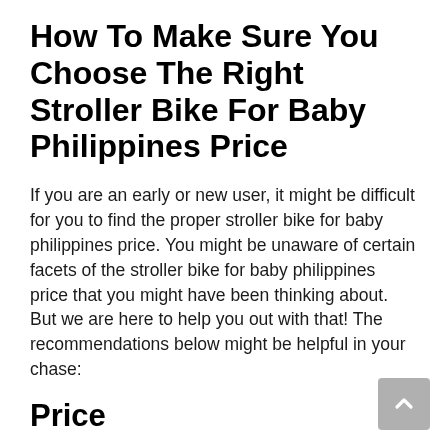How To Make Sure You Choose The Right Stroller Bike For Baby Philippines Price
If you are an early or new user, it might be difficult for you to find the proper stroller bike for baby philippines price. You might be unaware of certain facets of the stroller bike for baby philippines price that you might have been thinking about. But we are here to help you out with that! The recommendations below might be helpful in your chase:
Price